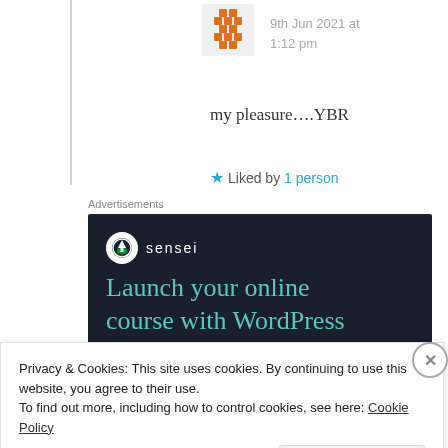9th Jun 2021 at 1:12 pm
my pleasure....YBR
★ Liked by 1 person
Advertisements
[Figure (illustration): Sensei advertisement banner on dark navy background. Shows Sensei logo (circle with tree icon) and text 'Launch your online course with WordPress' in teal color.]
Privacy & Cookies: This site uses cookies. By continuing to use this website, you agree to their use.
To find out more, including how to control cookies, see here: Cookie Policy
Close and accept